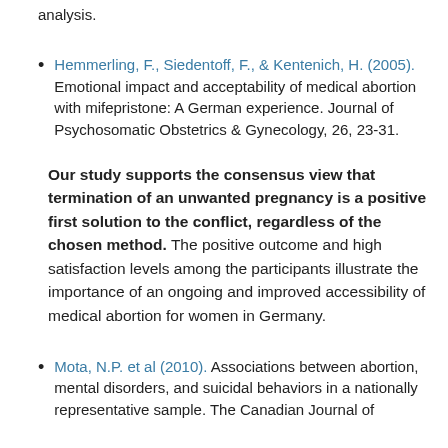analysis.
Hemmerling, F., Siedentoff, F., & Kentenich, H. (2005). Emotional impact and acceptability of medical abortion with mifepristone: A German experience. Journal of Psychosomatic Obstetrics & Gynecology, 26, 23-31.
Our study supports the consensus view that termination of an unwanted pregnancy is a positive first solution to the conflict, regardless of the chosen method. The positive outcome and high satisfaction levels among the participants illustrate the importance of an ongoing and improved accessibility of medical abortion for women in Germany.
Mota, N.P. et al (2010). Associations between abortion, mental disorders, and suicidal behaviors in a nationally representative sample. The Canadian Journal of